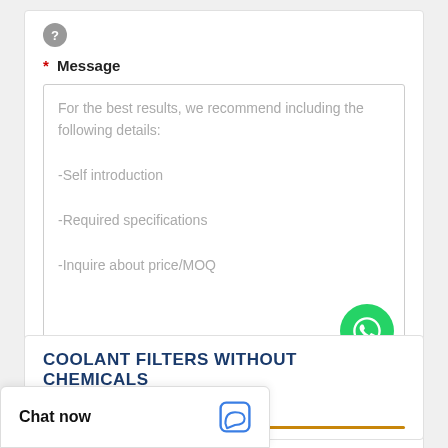[Figure (other): Help/question mark icon circle]
* Message
For the best results, we recommend including the following details:
-Self introduction
-Required specifications
-Inquire about price/MOQ
[Figure (logo): WhatsApp Online badge with green phone icon and text]
Send Now
COOLANT FILTERS WITHOUT CHEMICALS
CATEGORIES
Chat now